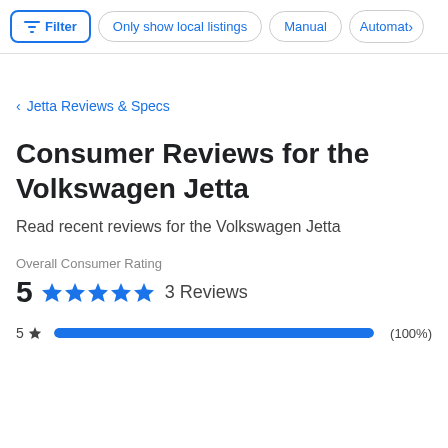Filter | Only show local listings | Manual | Automat>
< Jetta Reviews & Specs
Consumer Reviews for the Volkswagen Jetta
Read recent reviews for the Volkswagen Jetta
Overall Consumer Rating
5 ★★★★★ 3 Reviews
5 ★ (100%)